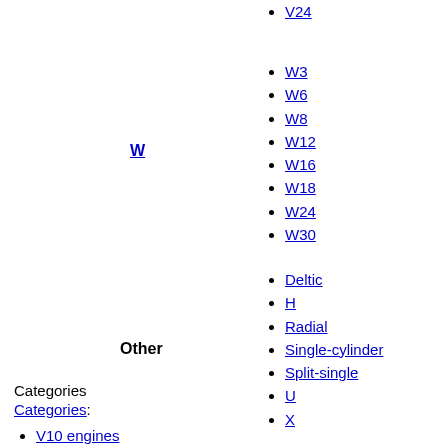V24
W
W3
W6
W8
W12
W16
W18
W24
W30
Other
Deltic
H
Radial
Single-cylinder
Split-single
U
X
Categories
V10 engines
V engines